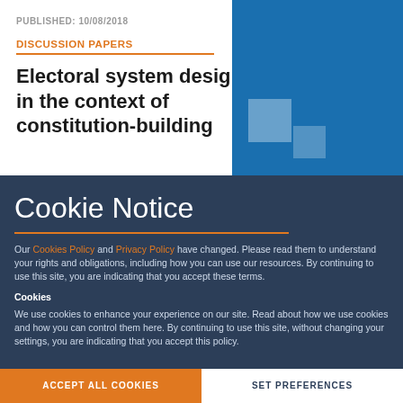PUBLISHED: 10/08/2018
DISCUSSION PAPERS
Electoral system design in the context of constitution-building
[Figure (illustration): Blue decorative squares graphic on blue background]
Cookie Notice
Our Cookies Policy and Privacy Policy have changed. Please read them to understand your rights and obligations, including how you can use our resources. By continuing to use this site, you are indicating that you accept these terms.
Cookies
We use cookies to enhance your experience on our site. Read about how we use cookies and how you can control them here. By continuing to use this site, without changing your settings, you are indicating that you accept this policy.
ACCEPT ALL COOKIES
SET PREFERENCES